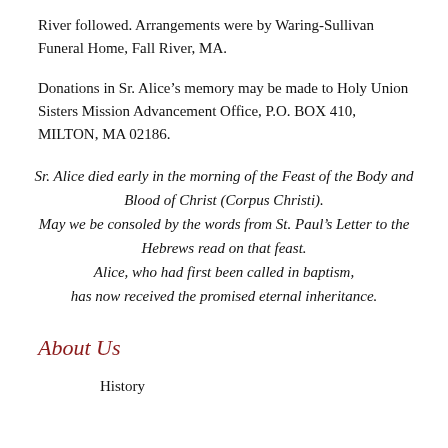River followed. Arrangements were by Waring-Sullivan Funeral Home, Fall River, MA.
Donations in Sr. Alice’s memory may be made to Holy Union Sisters Mission Advancement Office, P.O. BOX 410, MILTON, MA 02186.
Sr. Alice died early in the morning of the Feast of the Body and Blood of Christ (Corpus Christi). May we be consoled by the words from St. Paul’s Letter to the Hebrews read on that feast. Alice, who had first been called in baptism, has now received the promised eternal inheritance.
About Us
History